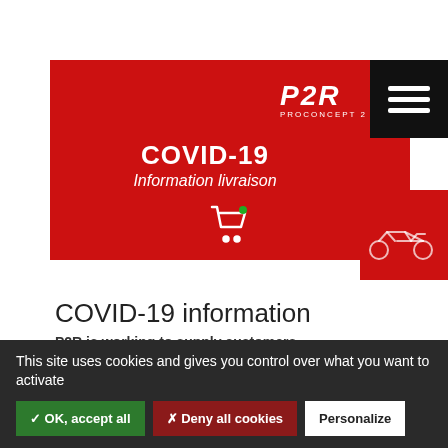[Figure (screenshot): Red banner with P2R logo (Proconcept2roues), COVID-19 text, 'Information livraison' subtitle, cart icon, black hamburger menu button, and red motorcycle icon tab]
COVID-19 information
P2R is working to supply customers.
04/07/2020
This site uses cookies and gives you control over what you want to activate